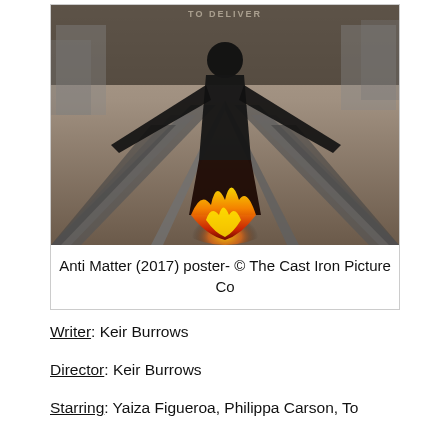[Figure (photo): Movie poster for Anti Matter (2017) showing a dark figure made of twisted metal/debris standing on stairs with arms outstretched, fire and flames at its base, with destroyed city buildings in the background. Dark, apocalyptic sci-fi imagery.]
Anti Matter (2017) poster- © The Cast Iron Picture Co
Writer: Keir Burrows
Director: Keir Burrows
Starring: Yaiza Figueroa, Philippa Carson, Tom...